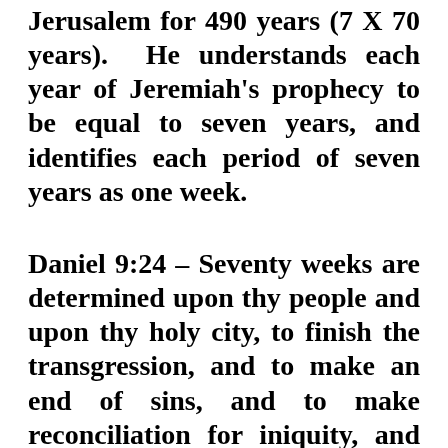Jerusalem for 490 years (7 X 70 years). He understands each year of Jeremiah's prophecy to be equal to seven years, and identifies each period of seven years as one week.
Daniel 9:24 – Seventy weeks are determined upon thy people and upon thy holy city, to finish the transgression, and to make an end of sins, and to make reconciliation for iniquity, and to bring in everlasting righteousness, and to seal up